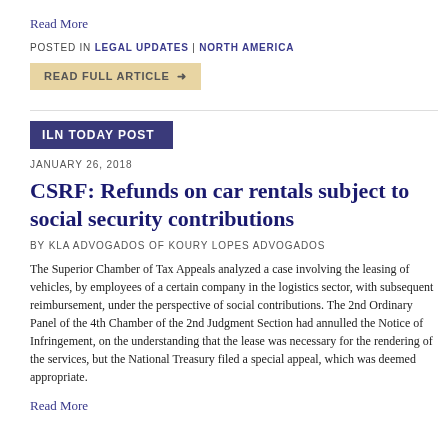Read More
POSTED IN LEGAL UPDATES | NORTH AMERICA
READ FULL ARTICLE →
ILN TODAY POST
JANUARY 26, 2018
CSRF: Refunds on car rentals subject to social security contributions
BY KLA ADVOGADOS OF KOURY LOPES ADVOGADOS
The Superior Chamber of Tax Appeals analyzed a case involving the leasing of vehicles, by employees of a certain company in the logistics sector, with subsequent reimbursement, under the perspective of social contributions. The 2nd Ordinary Panel of the 4th Chamber of the 2nd Judgment Section had annulled the Notice of Infringement, on the understanding that the lease was necessary for the rendering of the services, but the National Treasury filed a special appeal, which was deemed appropriate.
Read More